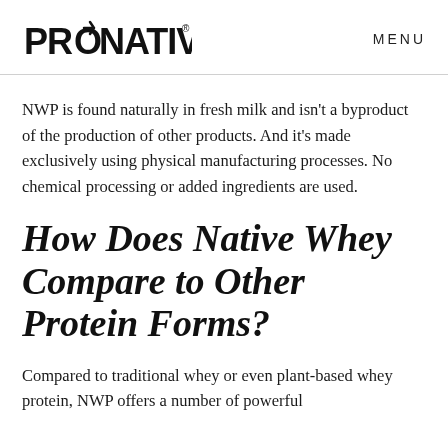PRONATIV  MENU
NWP is found naturally in fresh milk and isn't a byproduct of the production of other products. And it's made exclusively using physical manufacturing processes. No chemical processing or added ingredients are used.
How Does Native Whey Compare to Other Protein Forms?
Compared to traditional whey or even plant-based whey protein, NWP offers a number of powerful